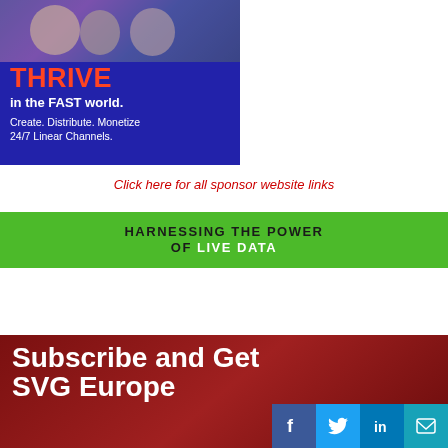[Figure (illustration): Advertisement banner: THRIVE in the FAST world. Create. Distribute. Monetize 24/7 Linear Channels. Blue background with photo of people at top.]
Click here for all sponsor website links
[Figure (illustration): Advertisement banner: HARNESSING THE POWER OF LIVE DATA on green background.]
[Figure (illustration): Advertisement banner: Subscribe and Get SVG Europe on dark red background with social media icons (Facebook, Twitter, LinkedIn, Email).]